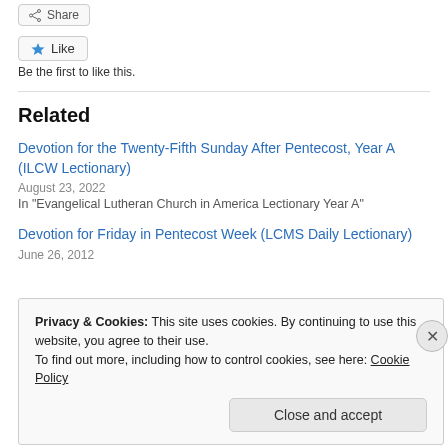[Figure (other): Share button with arrow/share icon]
[Figure (other): Like button with blue star icon]
Be the first to like this.
Related
Devotion for the Twenty-Fifth Sunday After Pentecost, Year A (ILCW Lectionary)
August 23, 2022
In "Evangelical Lutheran Church in America Lectionary Year A"
Devotion for Friday in Pentecost Week (LCMS Daily Lectionary)
June 26, 2012
Privacy & Cookies: This site uses cookies. By continuing to use this website, you agree to their use.
To find out more, including how to control cookies, see here: Cookie Policy
Close and accept